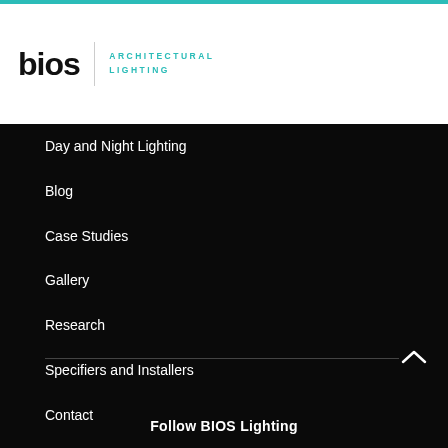bios | ARCHITECTURAL LIGHTING
Day and Night Lighting
Blog
Case Studies
Gallery
Research
Specifiers and Installers
Contact
Circadian Wellness Audit
Follow BIOS Lighting